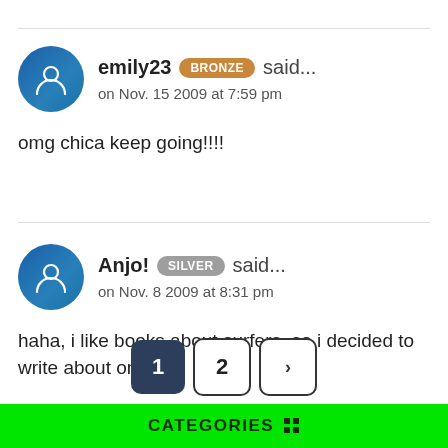emily23 BRONZE said... on Nov. 15 2009 at 7:59 pm
omg chica keep going!!!!
Anjo! SILVER said... on Nov. 8 2009 at 8:31 pm
haha, i like books about surfers. so i decided to write about one. lol
1 2 ›
CATEGORIES